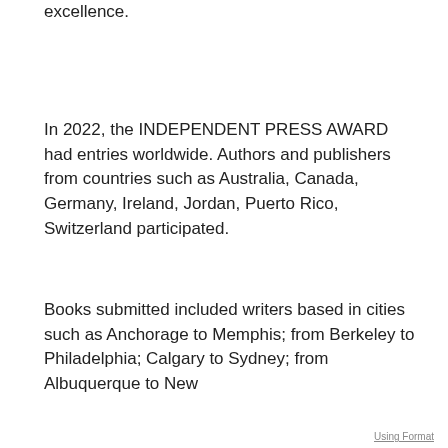excellence.
In 2022, the INDEPENDENT PRESS AWARD had entries worldwide. Authors and publishers from countries such as Australia, Canada, Germany, Ireland, Jordan, Puerto Rico, Switzerland participated.
Books submitted included writers based in cities such as Anchorage to Memphis; from Berkeley to Philadelphia; Calgary to Sydney; from Albuquerque to New
Using Format